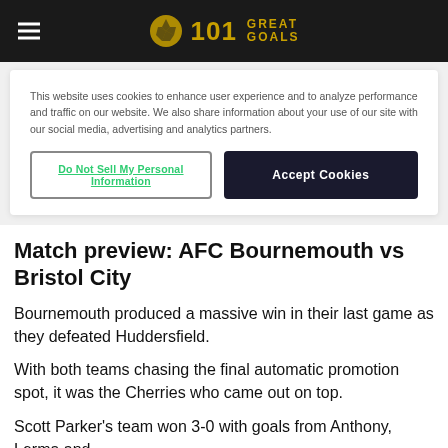101 Great Goals
This website uses cookies to enhance user experience and to analyze performance and traffic on our website. We also share information about your use of our site with our social media, advertising and analytics partners.
Do Not Sell My Personal Information | Accept Cookies
Match preview: AFC Bournemouth vs Bristol City
Bournemouth produced a massive win in their last game as they defeated Huddersfield.
With both teams chasing the final automatic promotion spot, it was the Cherries who came out on top.
Scott Parker's team won 3-0 with goals from Anthony, Lerma and ...